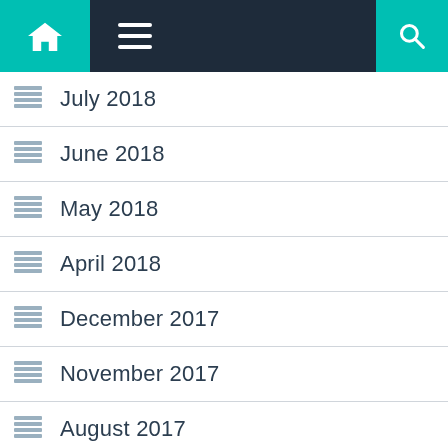Navigation bar with home, menu, and search icons
July 2018
June 2018
May 2018
April 2018
December 2017
November 2017
August 2017
April 2017
March 2017